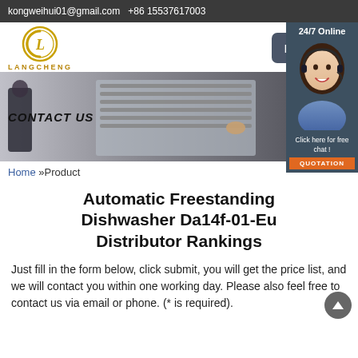kongweihui01@gmail.com  +86 15537617003
[Figure (logo): Langcheng brand logo — circular LC monogram in gold/brown with LANGCHENG text below]
[Figure (screenshot): Menu button (dark rounded rectangle with MENU and hamburger icon)]
[Figure (photo): Hero banner showing person loading a dishwasher, with CONTACT US label overlay]
[Figure (photo): 24/7 Online chat panel on right side with woman wearing headset, Click here for free chat text, and QUOTATION orange button]
Home »Product
Automatic Freestanding Dishwasher Da14f-01-Eu Distributor Rankings
Just fill in the form below, click submit, you will get the price list, and we will contact you within one working day. Please also feel free to contact us via email or phone. (* is required).